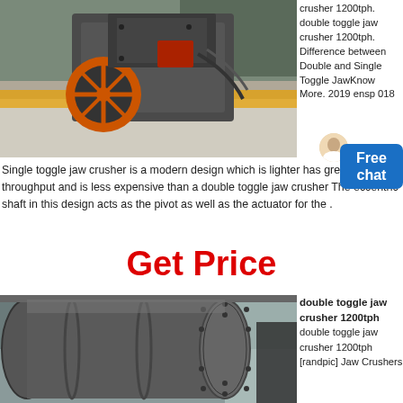[Figure (photo): Industrial jaw crusher machine with orange flywheel on a gravel surface in a factory setting]
crusher 1200tph. double toggle jaw crusher 1200tph. Difference between Double and Single Toggle JawKnow More. 2019 ensp 018
Single toggle jaw crusher is a modern design which is lighter has greater throughput and is less expensive than a double toggle jaw crusher The eccentric shaft in this design acts as the pivot as well as the actuator for the .
Get Price
[Figure (photo): Large industrial ball mill or cylindrical grinding equipment in a factory]
double toggle jaw crusher 1200tph
double toggle jaw crusher 1200tph [randpic] Jaw Crushers